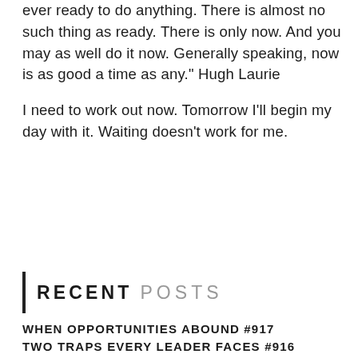ever ready to do anything. There is almost no such thing as ready. There is only now. And you may as well do it now. Generally speaking, now is as good a time as any." Hugh Laurie

I need to work out now. Tomorrow I'll begin my day with it. Waiting doesn't work for me.
RECENT Posts
WHEN OPPORTUNITIES ABOUND #917
TWO TRAPS EVERY LEADER FACES #916